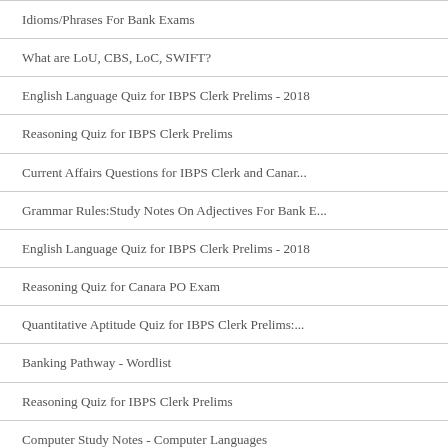Idioms/Phrases For Bank Exams
What are LoU, CBS, LoC, SWIFT?
English Language Quiz for IBPS Clerk Prelims - 2018
Reasoning Quiz for IBPS Clerk Prelims
Current Affairs Questions for IBPS Clerk and Canar...
Grammar Rules:Study Notes On Adjectives For Bank E...
English Language Quiz for IBPS Clerk Prelims - 2018
Reasoning Quiz for Canara PO Exam
Quantitative Aptitude Quiz for IBPS Clerk Prelims:...
Banking Pathway - Wordlist
Reasoning Quiz for IBPS Clerk Prelims
Computer Study Notes - Computer Languages